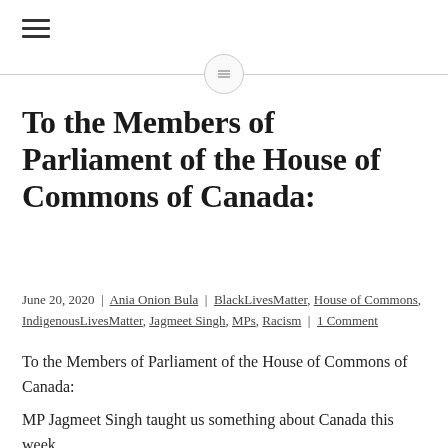≡
To the Members of Parliament of the House of Commons of Canada:
June 20, 2020 | Ania Onion Bula | BlackLivesMatter, House of Commons, IndigenousLivesMatter, Jagmeet Singh, MPs, Racism | 1 Comment
To the Members of Parliament of the House of Commons of Canada:
MP Jagmeet Singh taught us something about Canada this week.